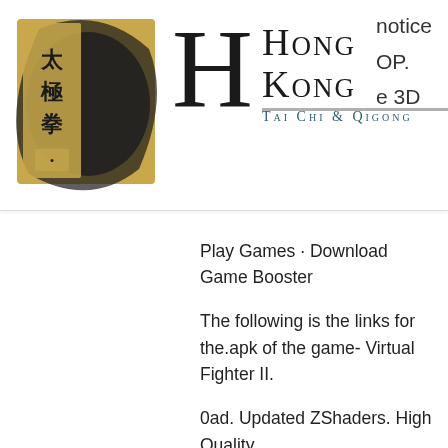[Figure (logo): Hong Kong Tai Chi & Qigong website header with logo (Chinese calligraphy brush mark with Chinese characters), large decorative H, brand name Hong Kong, subtitle Tai Chi & Qigong, cart icon with 0, and hamburger menu icon]
Play Games · Download Game Booster
The following is the links for the.apk of the game- Virtual Fighter II.
0ad. Updated ZShaders. High Quality.
28 Sep 2016 · 0ad. Updated ZShaders. High Quality.
Open ZBrush 3.1 Master File
Screenshot Video game music (remastered)
Game Crack
9 Sep 2016 · 0ad. Updated ZShaders. High Quality.
How to add 2D map tiles to the map editor in CryEngine.
Download Factory Software Data File
2 Sep 2015 · Download Factory Software Data File.
C# + Mono + MonoGame.nuget Package